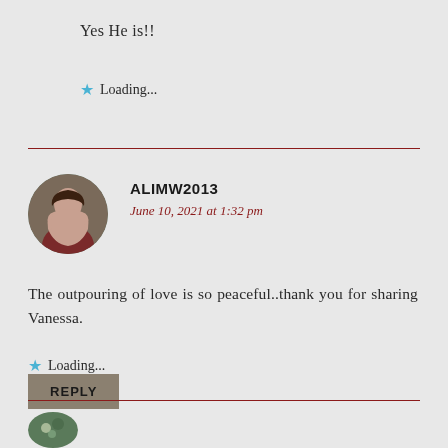Yes He is!!
★ Loading...
ALIMW2013
June 10, 2021 at 1:32 pm
The outpouring of love is so peaceful..thank you for sharing Vanessa.
★ Loading...
REPLY